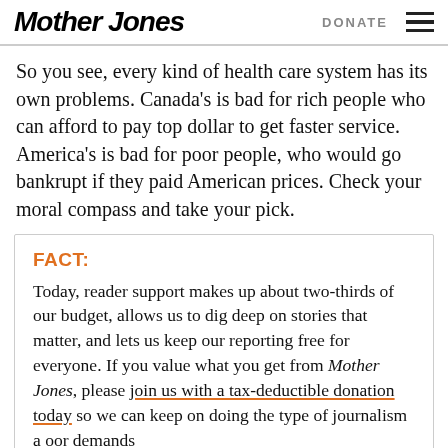Mother Jones | DONATE
So you see, every kind of health care system has its own problems. Canada's is bad for rich people who can afford to pay top dollar to get faster service. America's is bad for poor people, who would go bankrupt if they paid American prices. Check your moral compass and take your pick.
FACT:
Today, reader support makes up about two-thirds of our budget, allows us to dig deep on stories that matter, and lets us keep our reporting free for everyone. If you value what you get from Mother Jones, please join us with a tax-deductible donation today so we can keep on doing the type of journalism a oor demands